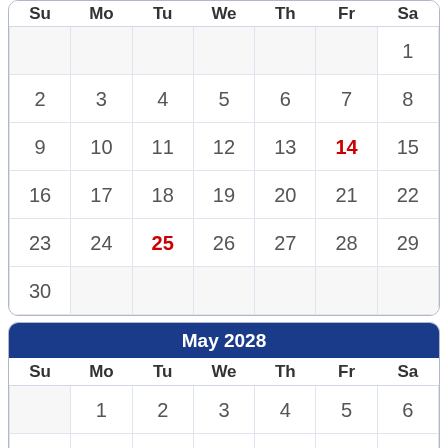| Su | Mo | Tu | We | Th | Fr | Sa |
| --- | --- | --- | --- | --- | --- | --- |
|  |  |  |  |  |  | 1 |
| 2 | 3 | 4 | 5 | 6 | 7 | 8 |
| 9 | 10 | 11 | 12 | 13 | 14 | 15 |
| 16 | 17 | 18 | 19 | 20 | 21 | 22 |
| 23 | 24 | 25 | 26 | 27 | 28 | 29 |
| 30 |  |  |  |  |  |  |
May 2028
| Su | Mo | Tu | We | Th | Fr | Sa |
| --- | --- | --- | --- | --- | --- | --- |
|  | 1 | 2 | 3 | 4 | 5 | 6 |
| 7 | 8 | 9 | 10 | 11 | 12 | 13 |
| 14 | 15 | 16 | 17 | 18 | 19 | 20 |
| 21 | 22 | 23 | 24 | 25 | 26 | 27 |
| 28 | 29 | 30 | 31 |  |  |  |